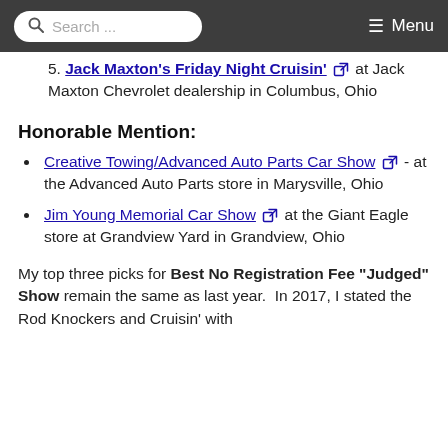Search ... Menu
5. Jack Maxton's Friday Night Cruisin' [external link] at Jack Maxton Chevrolet dealership in Columbus, Ohio
Honorable Mention:
Creative Towing/Advanced Auto Parts Car Show [external link] - at the Advanced Auto Parts store in Marysville, Ohio
Jim Young Memorial Car Show [external link] at the Giant Eagle store at Grandview Yard in Grandview, Ohio
My top three picks for Best No Registration Fee "Judged" Show remain the same as last year.  In 2017, I stated the Rod Knockers and Cruisin' with